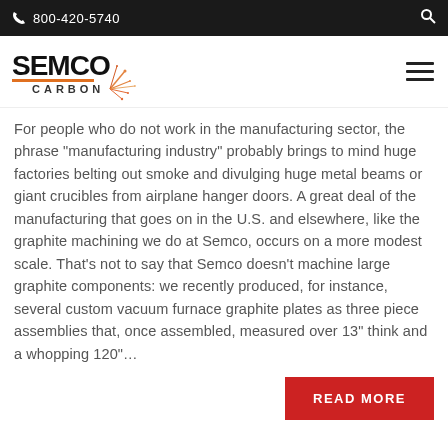800-420-5740
[Figure (logo): Semco Carbon logo with orange sparks graphic]
For people who do not work in the manufacturing sector, the phrase "manufacturing industry" probably brings to mind huge factories belting out smoke and divulging huge metal beams or giant crucibles from airplane hanger doors. A great deal of the manufacturing that goes on in the U.S. and elsewhere, like the graphite machining we do at Semco, occurs on a more modest scale. That's not to say that Semco doesn't machine large graphite components: we recently produced, for instance, several custom vacuum furnace graphite plates as three piece assemblies that, once assembled, measured over 13" think and a whopping 120"…
READ MORE